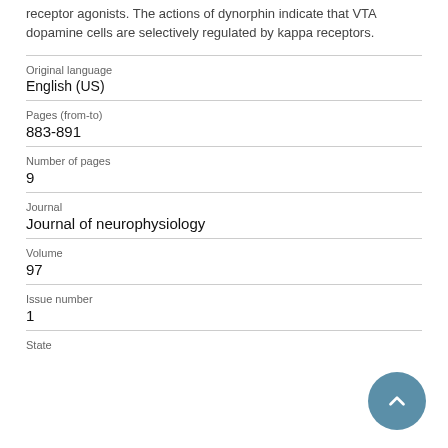receptor agonists. The actions of dynorphin indicate that VTA dopamine cells are selectively regulated by kappa receptors.
| Original language | English (US) |
| Pages (from-to) | 883-891 |
| Number of pages | 9 |
| Journal | Journal of neurophysiology |
| Volume | 97 |
| Issue number | 1 |
| State |  |